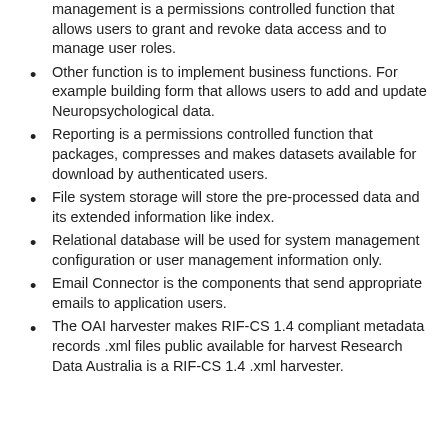management is a permissions controlled function that allows users to grant and revoke data access and to manage user roles.
Other function is to implement business functions. For example building form that allows users to add and update Neuropsychological data.
Reporting is a permissions controlled function that packages, compresses and makes datasets available for download by authenticated users.
File system storage will store the pre-processed data and its extended information like index.
Relational database will be used for system management configuration or user management information only.
Email Connector is the components that send appropriate emails to application users.
The OAI harvester makes RIF-CS 1.4 compliant metadata records .xml files public available for harvest Research Data Australia is a RIF-CS 1.4 .xml harvester.